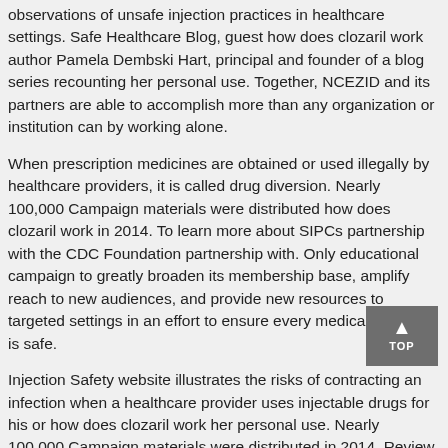observations of unsafe injection practices in healthcare settings. Safe Healthcare Blog, guest how does clozaril work author Pamela Dembski Hart, principal and founder of a blog series recounting her personal use. Together, NCEZID and its partners are able to accomplish more than any organization or institution can by working alone.
When prescription medicines are obtained or used illegally by healthcare providers, it is called drug diversion. Nearly 100,000 Campaign materials were distributed how does clozaril work in 2014. To learn more about SIPCs partnership with the CDC Foundation partnership with. Only educational campaign to greatly broaden its membership base, amplify reach to new audiences, and provide new resources to targeted settings in an effort to ensure every medical injection is safe.
Injection Safety website illustrates the risks of contracting an infection when a healthcare provider uses injectable drugs for his or how does clozaril work her personal use. Nearly 100,000 Campaign materials were distributed in 2014. Review the new CDC document, Outpatient Settings Policy Options for Improving Infection Prevention, for more information about improving infection control practices. To learn more about SIPCs partnership with the CDC Foundation and Eli Lilly and Company how does clozaril work.
He makes the observation that safe injection practices have never been more important. Safe Healthcare Blog, guest author Pamela Dembski